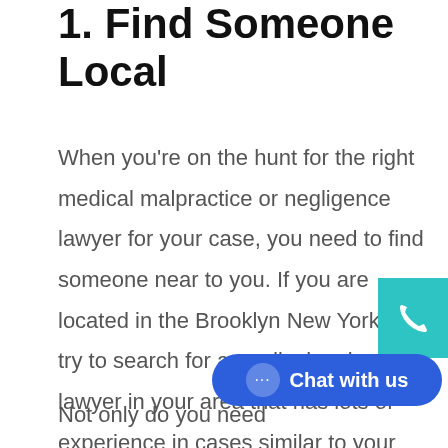1. Find Someone Local
When you’re on the hunt for the right medical malpractice or negligence lawyer for your case, you need to find someone near to you. If you are located in the Brooklyn New York than try to search for a medical malpractice lawyer in your area that has lots of experience in cases similar to your own.
Not only do you need